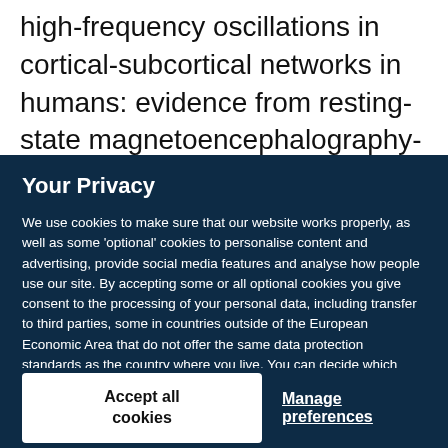high-frequency oscillations in cortical-subcortical networks in humans: evidence from resting-state magnetoencephalography-
Your Privacy
We use cookies to make sure that our website works properly, as well as some 'optional' cookies to personalise content and advertising, provide social media features and analyse how people use our site. By accepting some or all optional cookies you give consent to the processing of your personal data, including transfer to third parties, some in countries outside of the European Economic Area that do not offer the same data protection standards as the country where you live. You can decide which optional cookies to accept by clicking on 'Manage Settings', where you can also find more information about how your personal data is processed. Further information can be found in our privacy policy.
Accept all cookies
Manage preferences